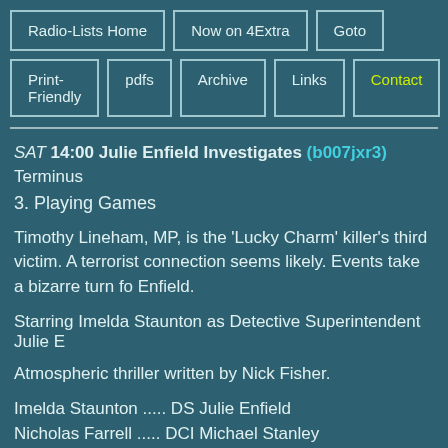Radio-Lists Home | Now on 4Extra | Goto | Print-Friendly | pdfs | Archive | Links | Contact
SAT 14:00 Julie Enfield Investigates (b007jxr3) Terminus
3. Playing Games
Timothy Lineham, MP, is the 'Lucky Charm' killer's third victim. A terrorist connection seems likely. Events take a bizarre turn for Enfield.
Starring Imelda Staunton as Detective Superintendent Julie E...
Atmospheric thriller written by Nick Fisher.
Imelda Staunton ..... DS Julie Enfield
Nicholas Farrell ..... DCI Michael Stanley
Charles Simpson ..... DS Kevin Richards
Dominic Letts ..... Terminus